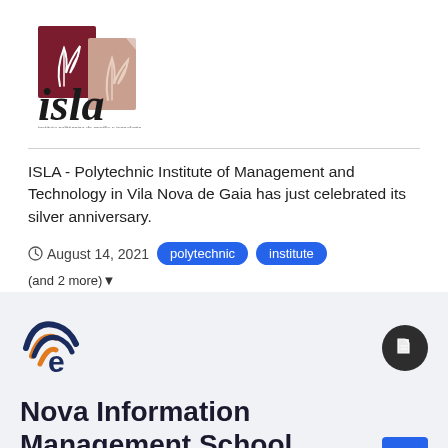[Figure (logo): ISLA Polytechnic Institute logo with tree/leaf icon in dark red and beige, and italic bold 'isla' wordmark below with subtitle text]
ISLA - Polytechnic Institute of Management and Technology in Vila Nova de Gaia has just celebrated its silver anniversary.
August 14, 2021  polytechnic  institute  (and 2 more)
[Figure (logo): Nova Information Management School logo with dark blue and orange 'e' wifi-style icon]
Nova Information Management School
EduCativ posted a university in Portugal